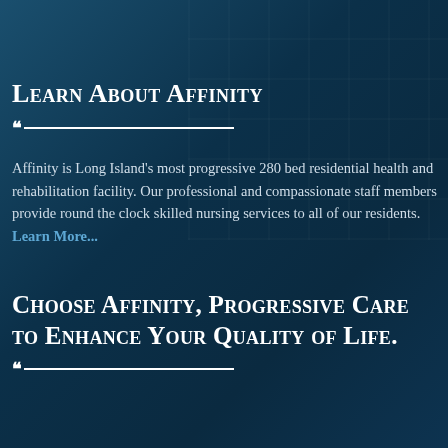Learn About Affinity
Affinity is Long Island's most progressive 280 bed residential health and rehabilitation facility. Our professional and compassionate staff members provide round the clock skilled nursing services to all of our residents. Learn More...
Choose Affinity, Progressive Care to Enhance Your Quality of Life.